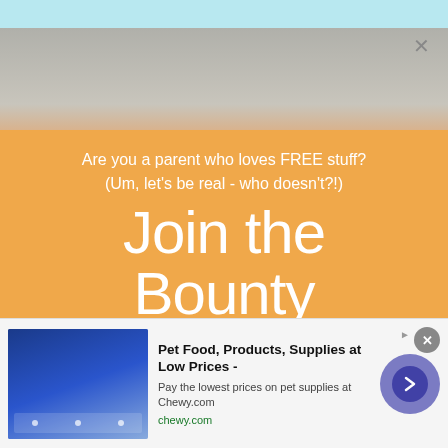[Figure (photo): Top portion of a webpage screenshot showing a light blue top bar and a photo strip blending into an orange promotional section]
Are you a parent who loves FREE stuff?
(Um, let's be real - who doesn't?!)
Join the Bounty Parents community
[Figure (screenshot): Advertisement banner for Chewy.com: 'Pet Food, Products, Supplies at Low Prices - Pay the lowest prices on pet supplies at Chewy.com' with chewy.com URL, a product image placeholder, and a navigation arrow button]